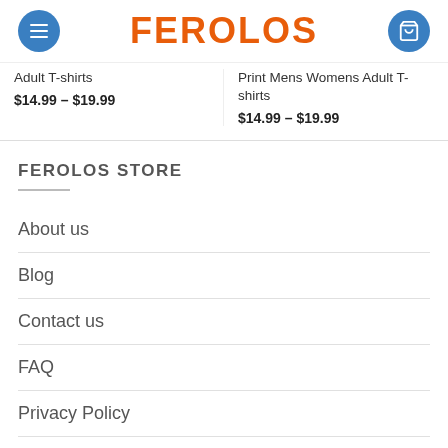FEROLOS
Adult T-shirts $14.99 – $19.99
Print Mens Womens Adult T-shirts $14.99 – $19.99
FEROLOS STORE
About us
Blog
Contact us
FAQ
Privacy Policy